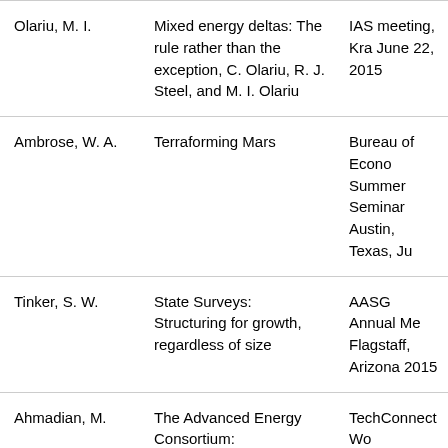| Olariu, M. I. | Mixed energy deltas: The rule rather than the exception, C. Olariu, R. J. Steel, and M. I. Olariu | IAS meeting, Kra June 22, 2015 |
| Ambrose, W. A. | Terraforming Mars | Bureau of Econo Summer Seminar Austin, Texas, Ju |
| Tinker, S. W. | State Surveys: Structuring for growth, regardless of size | AASG Annual Me Flagstaff, Arizona 2015 |
| Ahmadian, M. | The Advanced Energy Consortium: Nanotechnologies Solutions for the Oil and Gas Industry | TechConnect Wo Innovation Confe TechConnect, Wa DC, June 14, 201 |